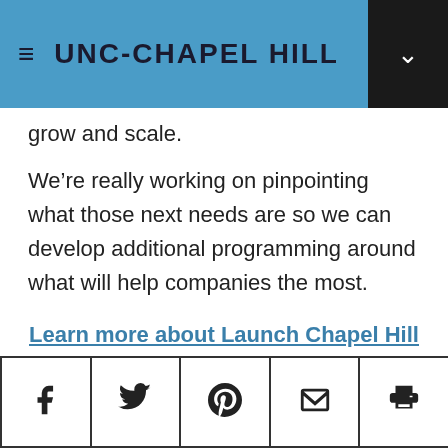UNC-CHAPEL HILL
grow and scale.
We're really working on pinpointing what those next needs are so we can develop additional programming around what will help companies the most.
Learn more about Launch Chapel Hill
CATEGORIES   innovation and entrepreneurship